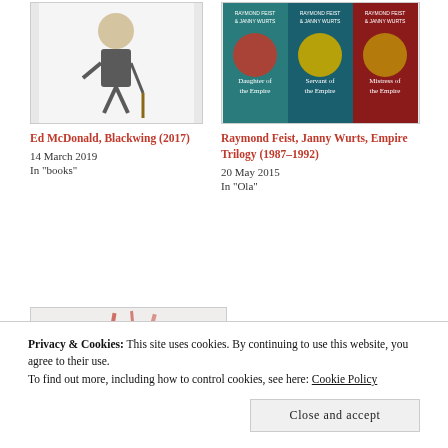[Figure (photo): Book cover for Ed McDonald's Blackwing (2017) showing a cartoon old man with a cane]
Ed McDonald, Blackwing (2017)
14 March 2019
In "books"
[Figure (photo): Three book covers of Raymond Feist and Janny Wurts Empire Trilogy series]
Raymond Feist, Janny Wurts, Empire Trilogy (1987–1992)
20 May 2015
In "Ola"
[Figure (photo): Book cover showing WAR text with smoky/war imagery]
Privacy & Cookies: This site uses cookies. By continuing to use this website, you agree to their use.
To find out more, including how to control cookies, see here: Cookie Policy
Close and accept